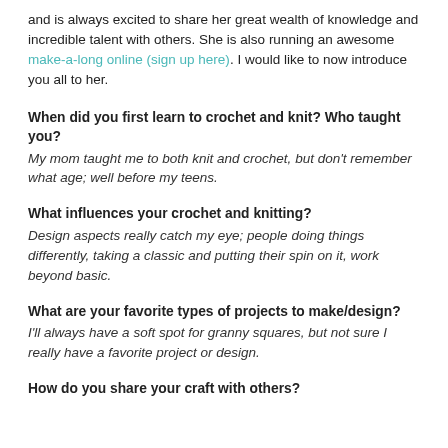and is always excited to share her great wealth of knowledge and incredible talent with others. She is also running an awesome make-a-long online (sign up here). I would like to now introduce you all to her.
When did you first learn to crochet and knit? Who taught you?
My mom taught me to both knit and crochet, but don't remember what age; well before my teens.
What influences your crochet and knitting?
Design aspects really catch my eye; people doing things differently, taking a classic and putting their spin on it, work beyond basic.
What are your favorite types of projects to make/design?
I'll always have a soft spot for granny squares, but not sure I really have a favorite project or design.
How do you share your craft with others?